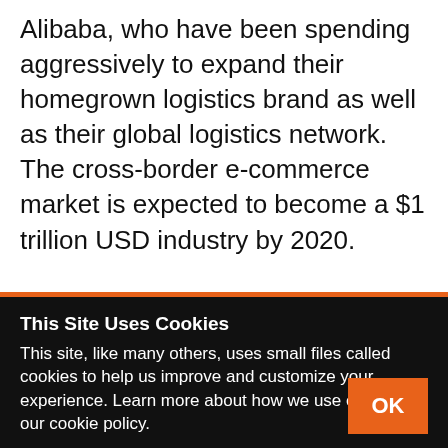Alibaba, who have been spending aggressively to expand their homegrown logistics brand as well as their global logistics network. The cross-border e-commerce market is expected to become a $1 trillion USD industry by 2020. The project, dubbed ‘Dragon Boat’, would also pose new competition to Amazon’s local shipping counterparts, FedEx and UPS. “Sellers will no longer book with DHL, UPS or Fedex but will book
This Site Uses Cookies
This site, like many others, uses small files called cookies to help us improve and customize your experience. Learn more about how we use cookies in our cookie policy.